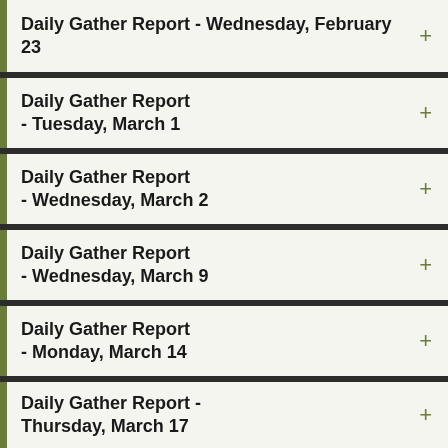Daily Gather Report - Wednesday, February 23
Daily Gather Report - Tuesday, March 1
Daily Gather Report - Wednesday, March 2
Daily Gather Report - Wednesday, March 9
Daily Gather Report - Monday, March 14
Daily Gather Report - Thursday, March 17